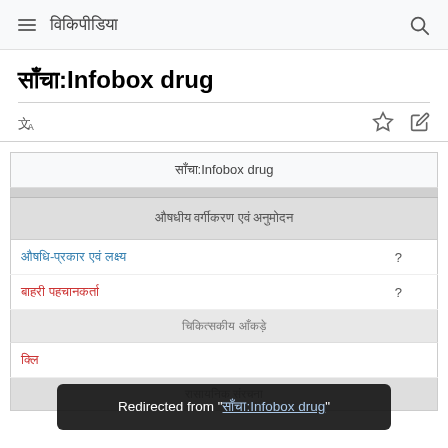विकिपीडिया
साँचा:Infobox drug
| साँचा:Infobox drug |
| --- |
| औषधीय पहचान ? |
| रासायनिक संरचना ? |
| चिकित्सकीय आँकड़े ? |
| क्लि... |
Redirected from "साँचा:Infobox drug"